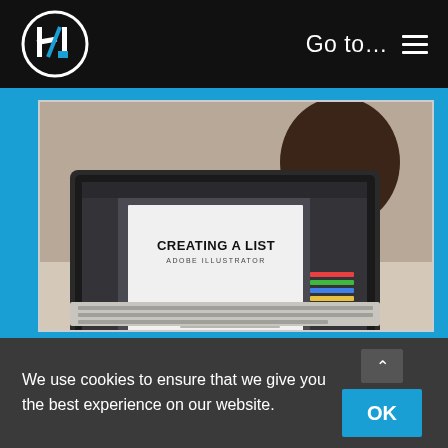[Figure (logo): Circular logo with stylized H/lightning bolt icon in white on black background]
Go to…  ☰
[Figure (photo): Person holding a coffee cup looking at a laptop screen showing Adobe Illustrator with text 'CREATING A LIST / ADOBE ILLUSTRATOR']
We use cookies to ensure that we give you the best experience on our website.
OK